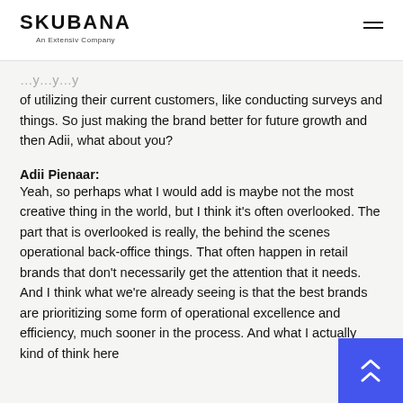SKUBANA
An Extensiv Company
of utilizing their current customers, like conducting surveys and things. So just making the brand better for future growth and then Adii, what about you?
Adii Pienaar:
Yeah, so perhaps what I would add is maybe not the most creative thing in the world, but I think it's often overlooked. The part that is overlooked is really, the behind the scenes operational back-office things. That often happen in retail brands that don't necessarily get the attention that it needs. And I think what we're already seeing is that the best brands are prioritizing some form of operational excellence and efficiency, much sooner in the process. And what I actually kind of think here